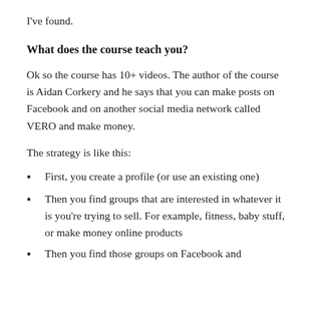I've found.
What does the course teach you?
Ok so the course has 10+ videos. The author of the course is Aidan Corkery and he says that you can make posts on Facebook and on another social media network called VERO and make money.
The strategy is like this:
First, you create a profile (or use an existing one)
Then you find groups that are interested in whatever it is you're trying to sell. For example, fitness, baby stuff, or make money online products
Then you find those groups on Facebook and...